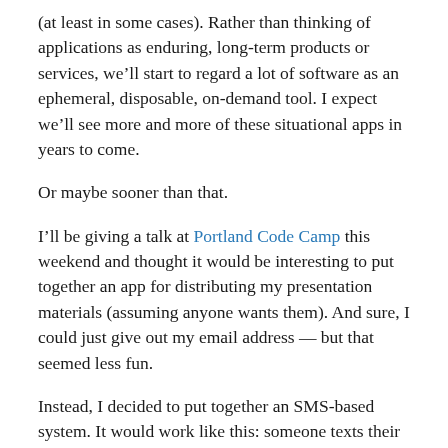(at least in some cases). Rather than thinking of applications as enduring, long-term products or services, we'll start to regard a lot of software as an ephemeral, disposable, on-demand tool. I expect we'll see more and more of these situational apps in years to come.
Or maybe sooner than that.
I'll be giving a talk at Portland Code Camp this weekend and thought it would be interesting to put together an app for distributing my presentation materials (assuming anyone wants them). And sure, I could just give out my email address — but that seemed less fun.
Instead, I decided to put together an SMS-based system. It would work like this: someone texts their email address to a particular phone number; in response they get a nice message telling them to look at their inbox, and an email to the specified address with the